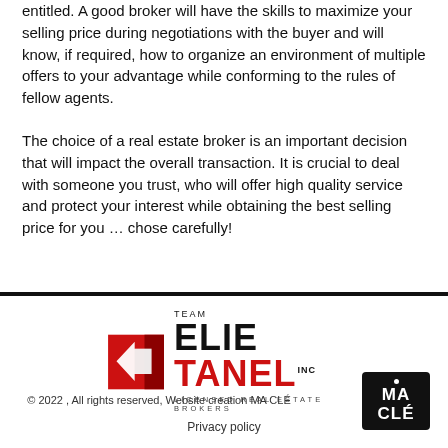entitled. A good broker will have the skills to maximize your selling price during negotiations with the buyer and will know, if required, how to organize an environment of multiple offers to your advantage while conforming to the rules of fellow agents.
The choice of a real estate broker is an important decision that will impact the overall transaction. It is crucial to deal with someone you trust, who will offer high quality service and protect your interest while obtaining the best selling price for you … chose carefully!
[Figure (logo): Team Elie Tanel Inc. Licensed Real Estate Brokers logo with red square icon containing a house silhouette]
© 2022 , All rights reserved, Website creation MA CLÉ   Privacy policy